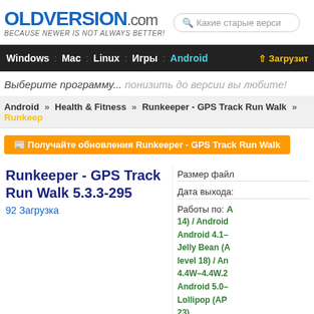OLDVERSION.com — BECAUSE NEWER IS NOT ALWAYS BETTER!
Какие старые верси...
Windows : Mac : Linux : Игры : Android ↑ Загрузить
Выберите программу... понизить до версии вы любите!
Android » Health & Fitness » Runkeeper - GPS Track Run Walk » Runkeeper
Получайте обновления Runkeeper - GPS Track Run Walk
Runkeeper - GPS Track Run Walk 5.3.3-295
92 Загрузка
Размер файл
Дата выхода:
Работы по: Android 4.4 (API level 14) / Android 4.1–4.3.1 Jelly Bean (API level 18) / Android 4.4W–4.4W.2 / Android 5.0–5.0.2 Lollipop (API level 23)
Не работает level 2) / And